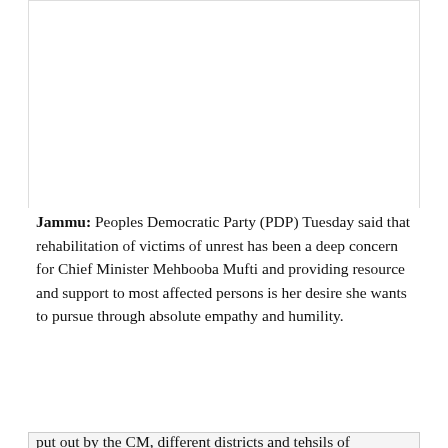[Figure (other): White blank image area at the top of the article, bordered on left and right]
Jammu: Peoples Democratic Party (PDP) Tuesday said that rehabilitation of victims of unrest has been a deep concern for Chief Minister Mehbooba Mufti and providing resource and support to most affected persons is her desire she wants to pursue through absolute empathy and humility.
Privacy & Cookies: This site uses cookies. By continuing to use this website, you agree to their use.
To find out more, including how to control cookies, see here: Cookie Policy
Close and accept
put out by the CM, different districts and tehsils of